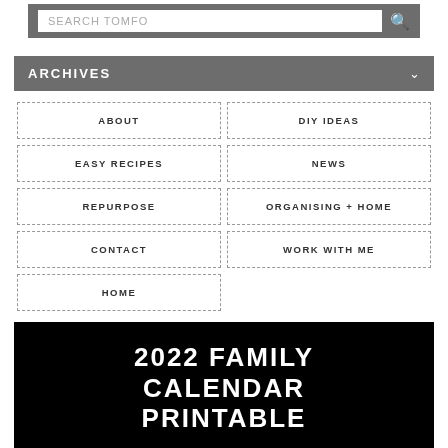[Figure (screenshot): Search bar with text SEARCH TOMFO and a search icon on grey background]
ARCHIVES
ABOUT
DIY IDEAS
EASY RECIPES
NEWS
REPURPOSE
ORGANISING + HOME
CONTACT
WORK WITH ME
HOME
[Figure (infographic): Black banner with white bold text reading 2022 FAMILY CALENDAR PRINTABLE]